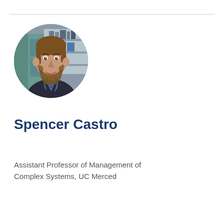[Figure (photo): Circular headshot photo of Spencer Castro, a man with a beard wearing a dark blazer and blue shirt, photographed indoors with shelves in the background.]
Spencer Castro
Assistant Professor of Management of Complex Systems, UC Merced